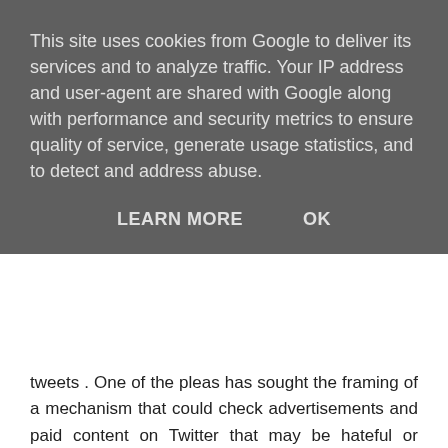This site uses cookies from Google to deliver its services and to analyze traffic. Your IP address and user-agent are shared with Google along with performance and security metrics to ensure quality of service, generate usage statistics, and to detect and address abuse.
LEARN MORE   OK
tweets . One of the pleas has sought the framing of a mechanism that could check advertisements and paid content on Twitter that may be hateful or seditious and to rein in social media accounts "in order to stop the hatred, fake, investigative and other news which are contrary to the law of the country or violates the law of the country".
Reply
Amit Import 23 May 2022 at 11:45
Get the import export data for India Import Export Data at Importglobals. India mostly export iron and steel products, industrial machinery, and automobiles and more. Visit our website for more information in details.